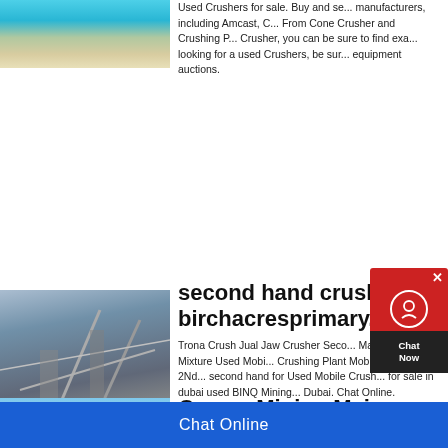[Figure (photo): Blue crusher/mining machine on sandy ground, partial view at top of page]
Used Crushers for sale. Buy and se... manufacturers, including Amcast, C... From Cone Crusher and Crushing P... Crusher, you can be sure to find exa... looking for a used Crushers, be sur... equipment auctions.
[Figure (photo): Industrial crushing plant structure with conveyor belts and steel framework against sky]
second hand crushi... birchacresprimary.c...
[Figure (other): Chat Now widget with red background and person icon]
Trona Crush Jual Jaw Crusher Seco... Machine Gravel Mixture Used Mobi... Crushing Plant Mobile Crusher 2Nd... second hand for Used Mobile Crush... for sale in dubai used BINQ Mining... Dubai. Chat Online.
[Figure (photo): Partial view of blue sky quarry/mining image at bottom left]
Quarry Mining Major Pro...
Chat Online